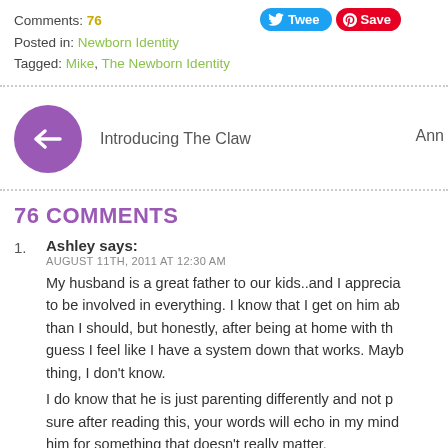Comments: 76
Posted in: Newborn Identity
Tagged: Mike, The Newborn Identity
[Figure (other): Tweet button and Pinterest Save button]
Introducing The Claw
Ann
76 COMMENTS
1. Ashley says:
AUGUST 11TH, 2011 AT 12:30 AM
My husband is a great father to our kids..and I apprecia... to be involved in everything. I know that I get on him ab... than I should, but honestly, after being at home with th... guess I feel like I have a system down that works. Mayb... thing, I don't know.
I do know that he is just parenting differently and not p... sure after reading this, your words will echo in my mind... him for something that doesn't really matter.